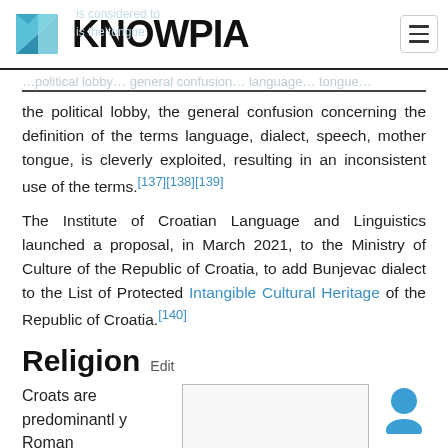KNOWPIA
the political lobby, the general confusion concerning the definition of the terms language, dialect, speech, mother tongue, is cleverly exploited, resulting in an inconsistent use of the terms.[137][138][139]
The Institute of Croatian Language and Linguistics launched a proposal, in March 2021, to the Ministry of Culture of the Republic of Croatia, to add Bunjevac dialect to the List of Protected Intangible Cultural Heritage of the Republic of Croatia.[140]
Religion Edit
Croats are predominantly Roman